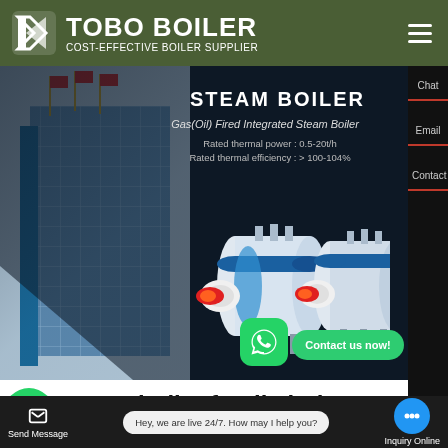TOBO BOILER — COST-EFFECTIVE BOILER SUPPLIER
[Figure (screenshot): Hero banner showing a gas/oil fired steam boiler product page with building photo on left, two boiler units in center/right, dark navy background. Text overlay: STEAM BOILER, Gas(Oil) Fired Integrated Steam Boiler, Rated thermal power: 0.5-20t/h, Rated thermal efficiency: >100-104%]
STEAM BOILER
Gas(Oil) Fired Integrated Steam Boiler
Rated thermal power : 0.5-20t/h
Rated thermal efficiency : > 100-104%
gas steam boiler for textile industry
Contact us now!
Contact us now!
Hey, we are live 24/7. How may I help you?
Send Message
Inquiry Online
Chat
Email
Contact